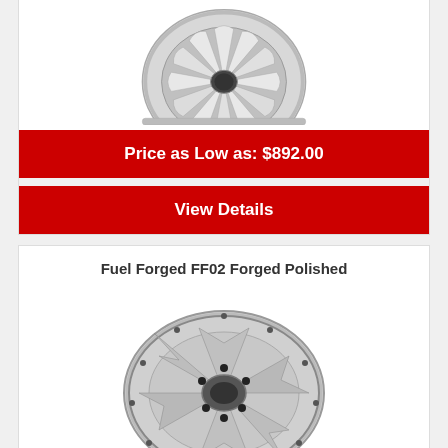[Figure (photo): Chrome polished forged wheel, top portion visible, shown at slight angle with turbine-style spokes]
Price as Low as: $892.00
View Details
Fuel Forged FF02 Forged Polished
[Figure (photo): Fuel Forged FF02 Forged Polished wheel, silver/chrome finish with star-pattern spokes, shown at angle]